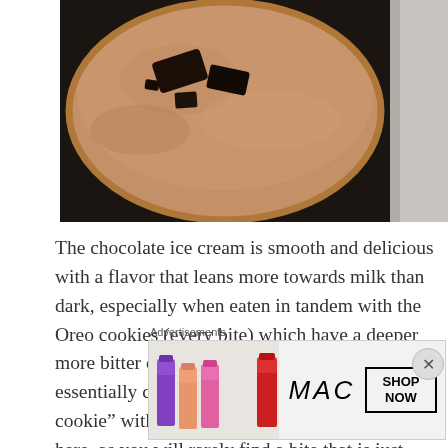[Figure (photo): Close-up top view of a bowl of chocolate ice cream with dark Oreo cookie chunks visible on the surface. Brown creamy texture with dark cookie pieces. Metallic surface visible at right edge.]
The chocolate ice cream is smooth and delicious with a flavor that leans more towards milk than dark, especially when eaten in tandem with the Oreo cookies (every bite) which have a deeper more bitter cocoa-forward flavor.  You could essentially call the base ice cream “chocolate cookie” with how many Oreo’s are integrated here, as you will rarely find a bite that is just
Advertisements
[Figure (photo): MAC Cosmetics advertisement banner showing colorful lipsticks (purple, peach, pink, red) with MAC logo and SHOP NOW button in a box.]